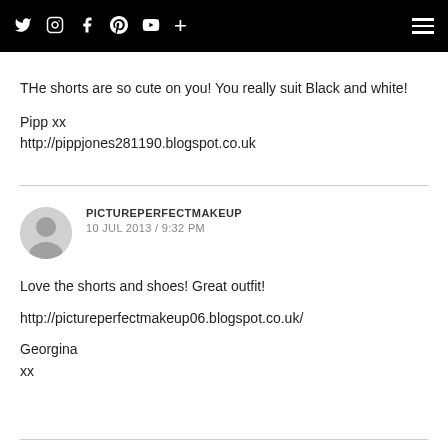Social media navigation bar with icons: Twitter, Instagram, Facebook, Pinterest, YouTube, Plus, and hamburger menu
THe shorts are so cute on you! You really suit Black and white!
Pipp xx
http://pippjones281190.blogspot.co.uk
PICTUREPERFECTMAKEUP
10 JUL 2013 / 9:32 PM
Love the shorts and shoes! Great outfit!

http://pictureperfectmakeup06.blogspot.co.uk/

Georgina
xx